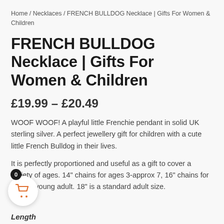Home / Necklaces / FRENCH BULLDOG Necklace | Gifts For Women & Children
FRENCH BULLDOG Necklace | Gifts For Women & Children
£19.99 – £20.49
WOOF WOOF! A playful little Frenchie pendant in solid UK sterling silver. A perfect jewellery gift for children with a cute little French Bulldog in their lives.
It is perfectly proportioned and useful as a gift to cover a variety of ages. 14" chains for ages 3-approx 7, 16" chains for ages 8-young adult. 18" is a standard adult size.
Length